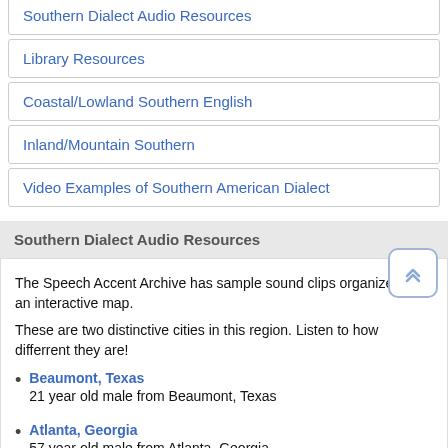Southern Dialect Audio Resources
Library Resources
Coastal/Lowland Southern English
Inland/Mountain Southern
Video Examples of Southern American Dialect
Southern Dialect Audio Resources
The Speech Accent Archive has sample sound clips organized by an interactive map.
These are two distinctive cities in this region. Listen to how differrent they are!
Beaumont, Texas
21 year old male from Beaumont, Texas
Atlanta, Georgia
57 year old male from Atlanta, Georgia